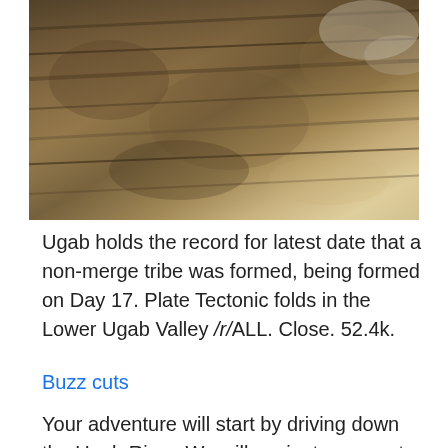[Figure (photo): Aerial or close-up photograph of rocky cliff face / plate tectonic folds in the Lower Ugab Valley, showing layered brown, tan, and golden rock strata with rugged texture.]
Ugab holds the record for latest date that a non-merge tribe was formed, being formed on Day 17. Plate Tectonic folds in the Lower Ugab Valley /r/ALL. Close. 52.4k.
Buzz cuts
Your adventure will start by driving down the Ugab River. We will navigate our route through swamps resulting in some adventurous 4x4 driving. Ugab River Guided Hiking Route This 50km-long route begins by crossing the coastal plain, then climbs into the hills and follows a double loop through lichen  We publish inspiring and thought-provoking